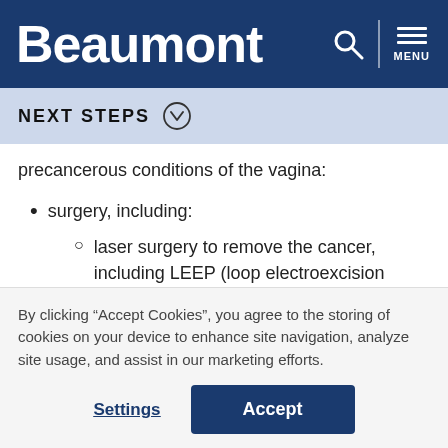Beaumont
NEXT STEPS
precancerous conditions of the vagina:
surgery, including:
laser surgery to remove the cancer, including LEEP (loop electroexcision procedure)
By clicking “Accept Cookies”, you agree to the storing of cookies on your device to enhance site navigation, analyze site usage, and assist in our marketing efforts.